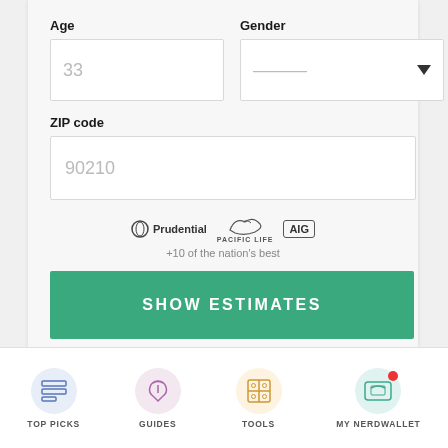Age
Gender
33
---
ZIP code
90210
[Figure (logo): Prudential logo]
[Figure (logo): Pacific Life logo]
[Figure (logo): AIG logo]
+10 of the nation's best
SHOW ESTIMATES
TOP PICKS
GUIDES
TOOLS
MY NERDWALLET